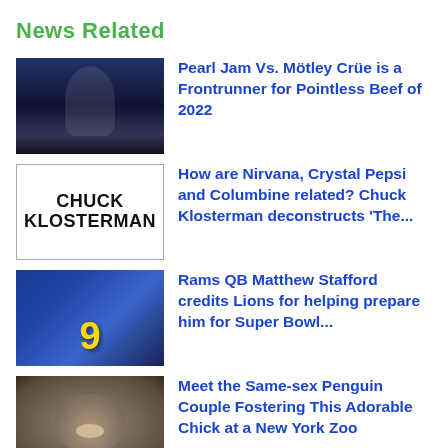News Related
[Figure (photo): Man speaking at podium with arms raised]
Pearl Jam Vs. Mötley Crüe is a Frontrunner for Pointless Beef of 2022
[Figure (photo): Book cover or promotional image reading CHUCK KLOSTERMAN]
How are Nirvana, Crystal Pepsi and Columbine related? Chuck Klosterman deconstructs 'The...
[Figure (photo): Football players celebrating, one wearing jersey number 9]
Rams QB Matthew Stafford credits Lions for helping prepare him for Super Bowl...
[Figure (photo): Young seal or sea lion pup close-up]
Meet the Same-sex Penguin Couple Fostering This Adorable Chick at a New York Zoo